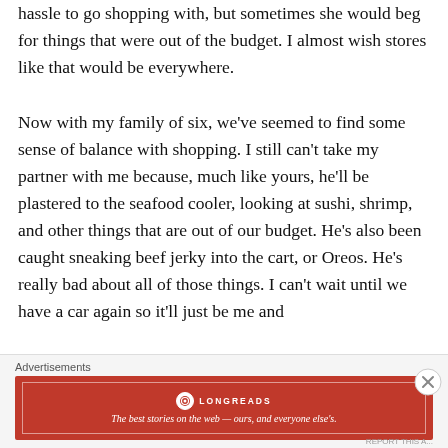hassle to go shopping with, but sometimes she would beg for things that were out of the budget. I almost wish stores like that would be everywhere.

Now with my family of six, we've seemed to find some sense of balance with shopping. I still can't take my partner with me because, much like yours, he'll be plastered to the seafood cooler, looking at sushi, shrimp, and other things that are out of our budget. He's also been caught sneaking beef jerky into the cart, or Oreos. He's really bad about all of those things. I can't wait until we have a car again so it'll just be me and
Advertisements
[Figure (logo): Longreads advertisement banner: red background with Longreads logo and tagline 'The best stories on the web — ours, and everyone else's.']